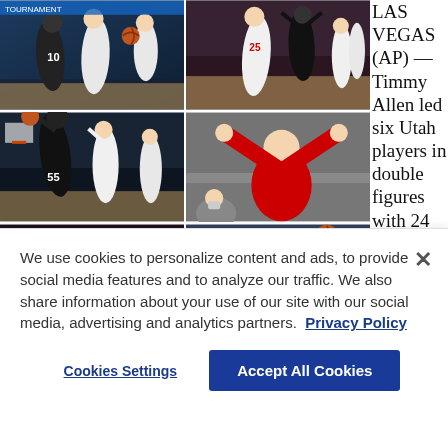[Figure (photo): Grid of 6 basketball game photos showing Utah vs Washington players, a coach celebrating, and game action scenes from what appears to be a PAC-12 tournament.]
LAS VEGAS (AP) — Timmy Allen led six Utah players in double figures with 24 points and 11
We use cookies to personalize content and ads, to provide social media features and to analyze our traffic. We also share information about your use of our site with our social media, advertising and analytics partners. Privacy Policy